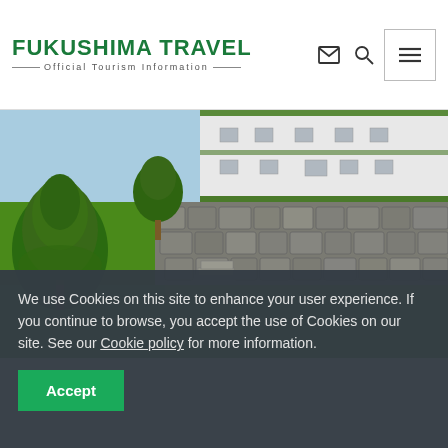FUKUSHIMA TRAVEL — Official Tourism Information
[Figure (photo): Japanese castle with stone foundation walls and pruned pine trees on green lawn]
We use Cookies on this site to enhance your user experience. If you continue to browse, you accept the use of Cookies on our site. See our Cookie policy for more information.
Accept